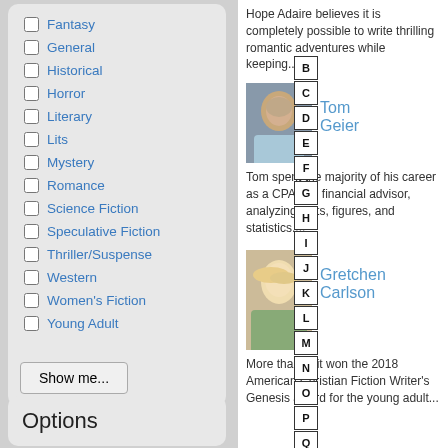Fantasy
General
Historical
Horror
Literary
Lits
Mystery
Romance
Science Fiction
Speculative Fiction
Thriller/Suspense
Western
Women's Fiction
Young Adult
Show me...
Options
Hope Adaire believes it is completely possible to write thrilling romantic adventures while keeping...
[Figure (photo): Headshot of Tom Geier, older man in light blue shirt]
Tom Geier
Tom spent the majority of his career as a CPA and financial advisor, analyzing facts, figures, and statistics....
[Figure (photo): Photo of Gretchen Carlson, blonde woman outdoors]
Gretchen Carlson
More than Grit won the 2018 American Christian Fiction Writer's Genesis award for the young adult...